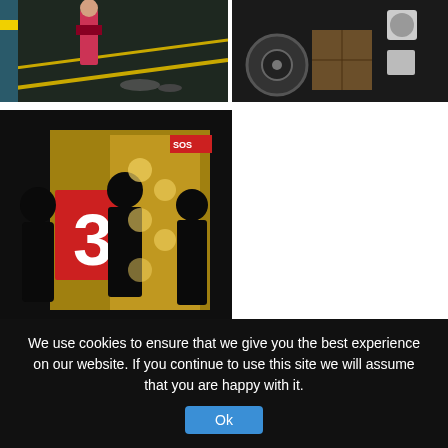[Figure (photo): Dark indoor scene showing a person in red/pink clothing standing near scattered items on a floor with yellow lines]
[Figure (photo): Dark warehouse/indoor scene showing a wheel/tire, wooden crate, and white cylindrical spools]
[Figure (photo): Dark indoor scene showing silhouettes of people standing in front of a wall with a large red number 3 sign and yellow background panels with illustrated faces]
Or meet Pinky and Perky having a rant! Pig puppetry performances to delight the kids as well as a large range of piggy banks waiting to be filled with coins for amnesty international, these are just some of the sights to be seen. There are too many artists to name here but TST chatted to a few of them about their work-
We use cookies to ensure that we give you the best experience on our website. If you continue to use this site we will assume that you are happy with it.